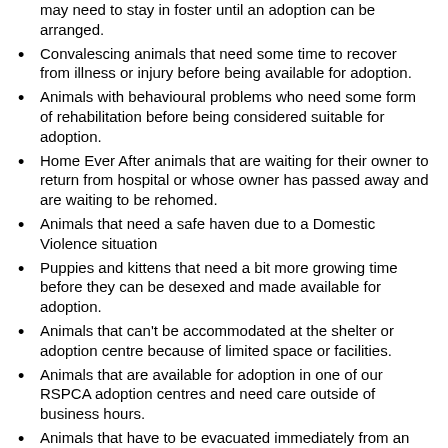may need to stay in foster until an adoption can be arranged.
Convalescing animals that need some time to recover from illness or injury before being available for adoption.
Animals with behavioural problems who need some form of rehabilitation before being considered suitable for adoption.
Home Ever After animals that are waiting for their owner to return from hospital or whose owner has passed away and are waiting to be rehomed.
Animals that need a safe haven due to a Domestic Violence situation
Puppies and kittens that need a bit more growing time before they can be desexed and made available for adoption.
Animals that can't be accommodated at the shelter or adoption centre because of limited space or facilities.
Animals that are available for adoption in one of our RSPCA adoption centres and need care outside of business hours.
Animals that have to be evacuated immediately from an emergency situation e.g. floods, bushfires, cyclone, earthquake.